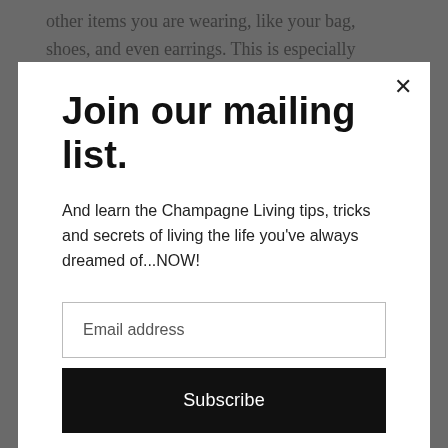other items you are wearing, like your bag, shoes, and even earrings. This is especially important to keep in mind...
Join our mailing list.
And learn the Champagne Living tips, tricks and secrets of living the life you've always dreamed of...NOW!
Email address
Subscribe
sense only rather than going by personal preferences, among other things.